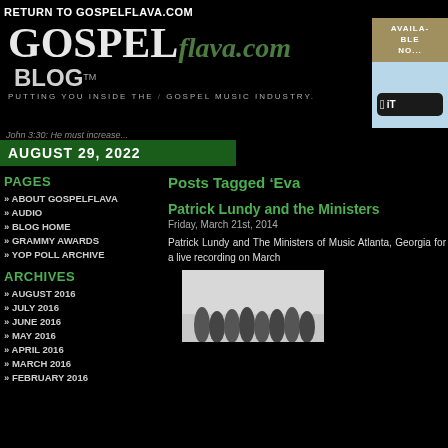RETURN TO GOSPELFLAVA.COM
[Figure (logo): GospelFlava.com Blog logo with tagline 'Putting you inside the gospel music industry']
[Figure (illustration): iTunes availability banner and button]
John 3:30: He must increase...
AUGUST 29, 2022
PAGES
» ABOUT GOSPELFLAVA
» AUDIO
» BLOG HOME
» GRAMMY AWARDS
» YOP POLL ARCHIVE
ARCHIVES
» AUGUST 2016
» JULY 2016
» JUNE 2016
» MAY 2016
» APRIL 2016
» MARCH 2016
» FEBRUARY 2016
Posts Tagged 'Eva
Patrick Lundy and the Ministers
Friday, March 21st, 2014
Patrick Lundy and The Ministers of Music Atlanta, Georgia for a live recording on March
[Figure (photo): Group photo of people, partially visible, at bottom right of page]